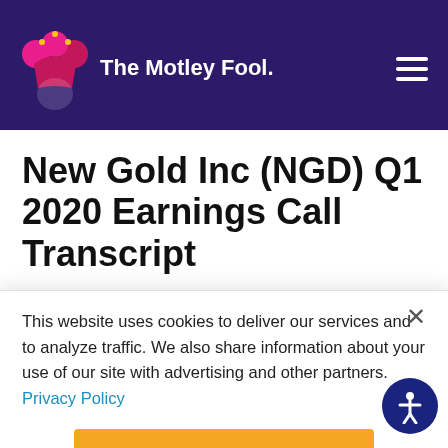The Motley Fool
New Gold Inc (NGD) Q1 2020 Earnings Call Transcript
By Motley Fool Transcribers - Apr 29, 2020 at 9:00PM
This website uses cookies to deliver our services and to analyze traffic. We also share information about your use of our site with advertising and other partners. Privacy Policy
Got it
Cookie Settings